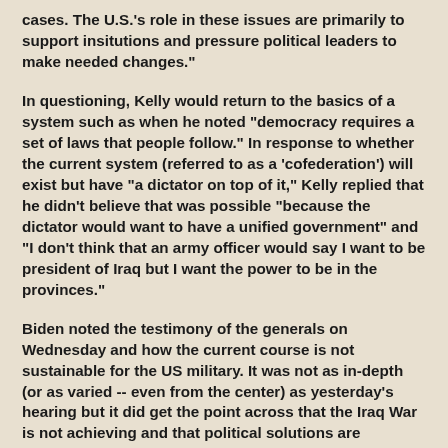cases. The U.S.'s role in these issues are primarily to support insitutions and pressure political leaders to make needed changes."
In questioning, Kelly would return to the basics of a system such as when he noted "democracy requires a set of laws that people follow." In response to whether the current system (referred to as a 'cofederation') will exist but have "a dictator on top of it," Kelly replied that he didn't believe that was possible "because the dictator would want to have a unified government" and "I don't think that an army officer would say I want to be president of Iraq but I want the power to be in the provinces."
Biden noted the testimony of the generals on Wednesday and how the current course is not sustainable for the US military. It was not as in-depth (or as varied -- even from the center) as yesterday's hearing but it did get the point across that the Iraq War is not achieving and that political solutions are something the Iraqis will have to decide on, not the US.